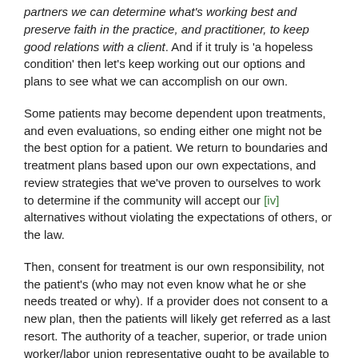partners we can determine what's working best and preserve faith in the practice, and practitioner, to keep good relations with a client. And if it truly is 'a hopeless condition' then let's keep working out our options and plans to see what we can accomplish on our own.
Some patients may become dependent upon treatments, and even evaluations, so ending either one might not be the best option for a patient. We return to boundaries and treatment plans based upon our own expectations, and review strategies that we've proven to ourselves to work to determine if the community will accept our [iv] alternatives without violating the expectations of others, or the law.
Then, consent for treatment is our own responsibility, not the patient's (who may not even know what he or she needs treated or why). If a provider does not consent to a new plan, then the patients will likely get referred as a last resort. The authority of a teacher, superior, or trade union worker/labor union representative ought to be available to enforce a decision and remove a patient from becoming a threat to a practice by referring him or her to another provider even if they are dependent upon the practice in question.